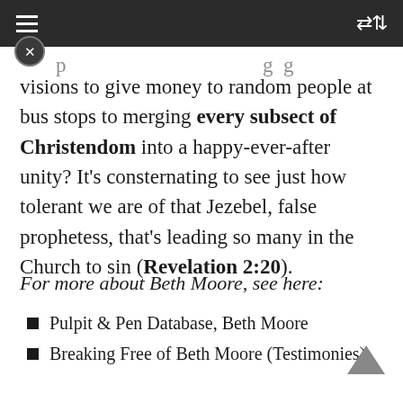[navigation bar with hamburger menu and shuffle icon]
visions to give money to random people at bus stops to merging every subsect of Christendom into a happy-ever-after unity? It’s consternating to see just how tolerant we are of that Jezebel, false prophetess, that’s leading so many in the Church to sin (Revelation 2:20).
For more about Beth Moore, see here:
Pulpit & Pen Database, Beth Moore
Breaking Free of Beth Moore (Testimonies)